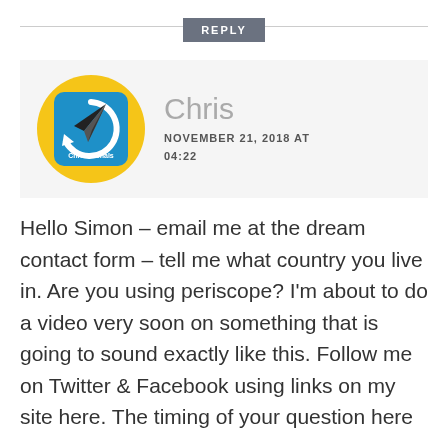REPLY
[Figure (illustration): Avatar logo for Chris Michals: a circular icon with a yellow outer ring and blue square background containing a paper airplane and circular arrow, with 'Chris Michals' text at the bottom]
Chris
NOVEMBER 21, 2018 AT 04:22
Hello Simon – email me at the dream contact form – tell me what country you live in. Are you using periscope? I'm about to do a video very soon on something that is going to sound exactly like this. Follow me on Twitter & Facebook using links on my site here. The timing of your question here